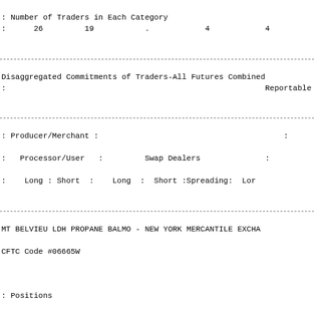| : Number of Traders in Each Category |
| : | 26 | 19 | . | 4 | 4 |
Disaggregated Commitments of Traders-All Futures Combined
:
                                                         Reportable
| : Producer/Merchant : |  |  |  | : |  |
| --- | --- | --- | --- | --- | --- |
| : Processor/User  : | Swap Dealers | : |  |
| :  Long : Short  : | Long : | Short :Spreading: | Lor |
MT BELVIEU LDH PROPANE BALMO - NEW YORK MERCANTILE EXCHA
CFTC Code #06665W
| : Positions |
| : | 3,522 | 4,001 | 739 | 315 | 30 |
| : |  |
| : Changes from: | January 23, 2018 |
| : | 35 | 50 | 0 | 0 | 0 |
| : |  |
| : Percent of Open Interest Represented by Each Category o |
| : | 65.5 | 74.4 | 13.7 | 5.9 | 0.6 |
| : |  |
| : Number of Traders in Each Category |
| : | 16 | 17 | . | . | . |
Updated February 2, 2018